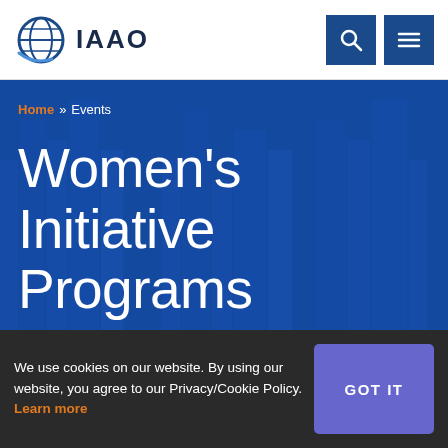[Figure (logo): IAAO globe logo with text 'IAAO']
[Figure (screenshot): Search icon button (magnifying glass) on dark blue background]
[Figure (screenshot): Menu icon button (hamburger) on dark blue background]
Home » Events
Women's Initiative Programs
We use cookies on our website. By using our website, you agree to our Privacy/Cookie Policy. Learn more
GOT IT
Dealing With